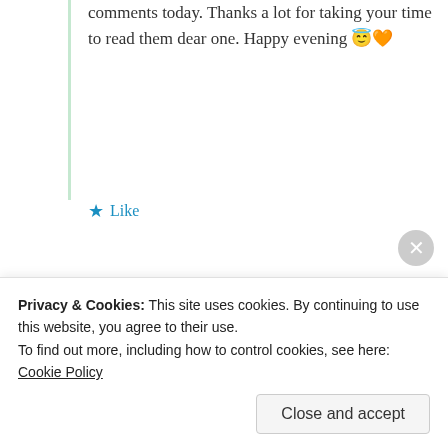comments today. Thanks a lot for taking your time to read them dear one. Happy evening 😇🧡
★ Like
Log in to Reply
Advertisements
[Figure (other): Pocket Casts advertisement banner: red background with text 'An app by listeners, for listeners.' and Pocket Casts logo with a phone image]
REPORT THIS AD
[Figure (screenshot): Partial comment box, partially visible]
Privacy & Cookies: This site uses cookies. By continuing to use this website, you agree to their use.
To find out more, including how to control cookies, see here: Cookie Policy
Close and accept